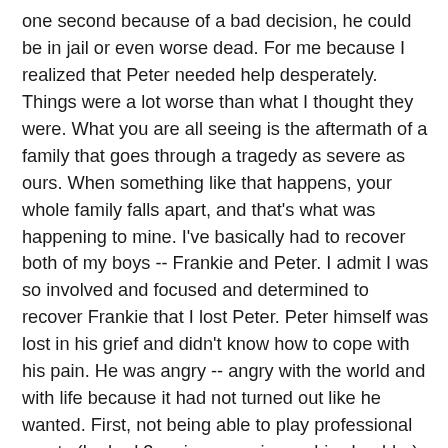one second because of a bad decision, he could be in jail or even worse dead. For me because I realized that Peter needed help desperately. Things were a lot worse than what I thought they were. What you are all seeing is the aftermath of a family that goes through a tragedy as severe as ours. When something like that happens, your whole family falls apart, and that's what was happening to mine. I've basically had to recover both of my boys -- Frankie and Peter. I admit I was so involved and focused and determined to recover Frankie that I lost Peter. Peter himself was lost in his grief and didn't know how to cope with his pain. He was angry -- angry with the world and with life because it had not turned out like he wanted. First, not being able to play professional sports (he had 3 major surgeries on his shoulder) and then almost losing his brother. In addition to that, there are the challenges of being an adolescent boy and pressure that comes with it.